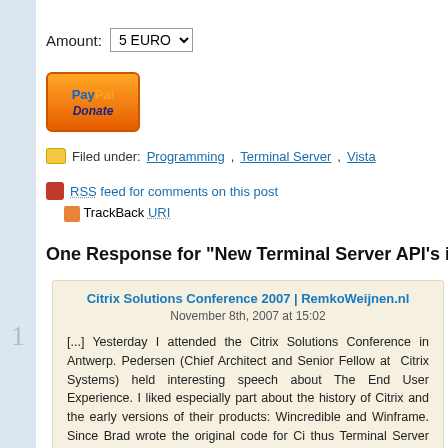Amount: 5 EURO
[Figure (logo): PayPal Donate button, orange gradient with dark blue text]
Filed under: Programming, Terminal Server, Vista
RSS feed for comments on this post
TrackBack URI
One Response for "New Terminal Server API's in Vista SP
Citrix Solutions Conference 2007 | RemkoWeijnen.nl
November 8th, 2007 at 15:02
[...] Yesterday I attended the Citrix Solutions Conference in Antwerp. Pedersen (Chief Architect and Senior Fellow at  Citrix Systems) held interesting speech about The End User Experience. I liked especially part about the history of Citrix and the early versions of their products: Wincredible and Winframe. Since Brad wrote the original code for Ci thus Terminal Server (the stuff that is in winsta.dll now) I hoped he co some info with me on the undiscovered parts of winsta.dll. Unfortuna could not do this because of a non disclosure agreement with Micros tell me that Citrix is pushing Microsoft to make more Terminal Server public. I presume that's why Vista and Windows 2008 offer some nev which I wrote about earlier. [...]